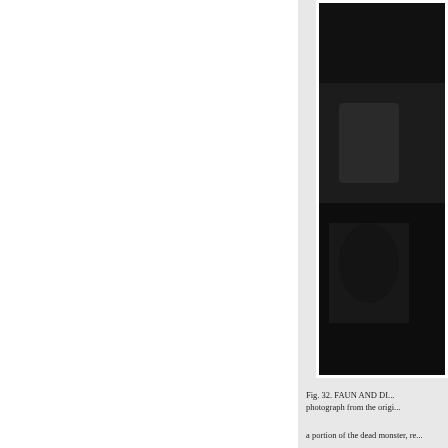[Figure (photo): A dark photographic image, partially cropped, appearing to show a figure or scene in very dark tones, positioned in the right portion of the page against a light gray background panel.]
Fig. 32. FAUN AND DI... photograph from the origi...
a portion of the dead monster, re...